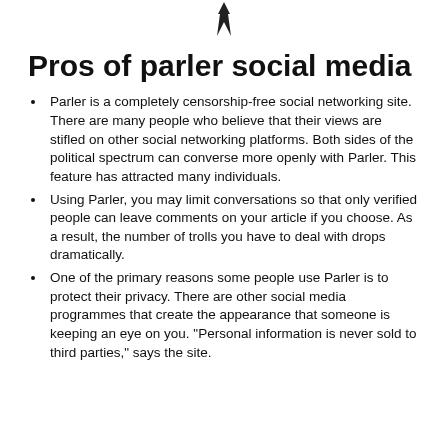[Figure (logo): Partial logo icon at top center — a dark angular shape resembling a stylized letter or quill]
Pros of parler social media
Parler is a completely censorship-free social networking site. There are many people who believe that their views are stifled on other social networking platforms. Both sides of the political spectrum can converse more openly with Parler. This feature has attracted many individuals.
Using Parler, you may limit conversations so that only verified people can leave comments on your article if you choose. As a result, the number of trolls you have to deal with drops dramatically.
One of the primary reasons some people use Parler is to protect their privacy. There are other social media programmes that create the appearance that someone is keeping an eye on you. "Personal information is never sold to third parties," says the site.